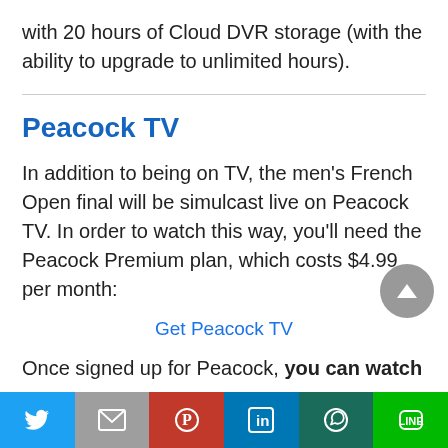with 20 hours of Cloud DVR storage (with the ability to upgrade to unlimited hours).
Peacock TV
In addition to being on TV, the men's French Open final will be simulcast live on Peacock TV. In order to watch this way, you'll need the Peacock Premium plan, which costs $4.99 per month:
Get Peacock TV
Once signed up for Peacock, you can watch